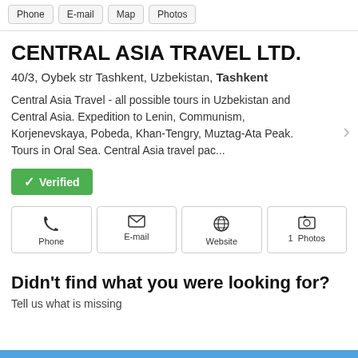Phone  E-mail  Map  Photos
CENTRAL ASIA TRAVEL LTD.
40/3, Oybek str Tashkent, Uzbekistan, Tashkent
Central Asia Travel - all possible tours in Uzbekistan and Central Asia. Expedition to Lenin, Communism, Korjenevskaya, Pobeda, Khan-Tengry, Muztag-Ata Peak. Tours in Oral Sea. Central Asia travel pac...
Verified
Phone  E-mail  Website  1 Photos
Didn't find what you were looking for?
Tell us what is missing